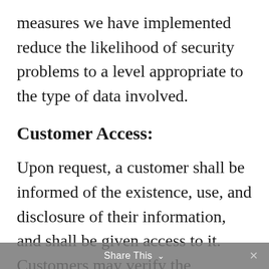measures we have implemented reduce the likelihood of security problems to a level appropriate to the type of data involved.
Customer Access:
Upon request, a customer shall be informed of the existence, use, and disclosure of their information, and shall be given access to it. Customers may verify the accuracy and completeness of their information and may request that it be amended, if appropriate.
Share This ∨  ×